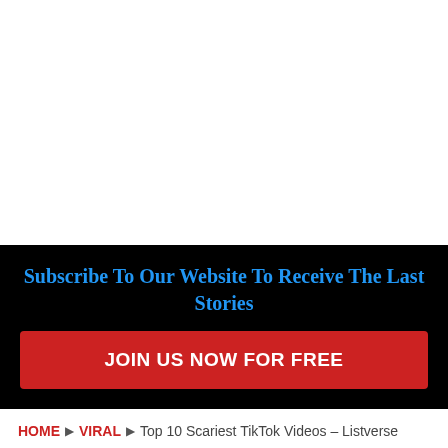[Figure (other): White empty space at top of page]
Subscribe To Our Website To Receive The Last Stories
JOIN US NOW FOR FREE
HOME ▶ VIRAL ▶ Top 10 Scariest TikTok Videos – Listverse
VIRAL